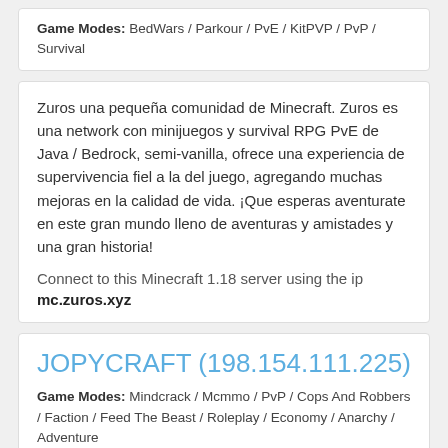Game Modes: BedWars / Parkour / PvE / KitPVP / PvP / Survival
Zuros una pequeña comunidad de Minecraft. Zuros es una network con minijuegos y survival RPG PvE de Java / Bedrock, semi-vanilla, ofrece una experiencia de supervivencia fiel a la del juego, agregando muchas mejoras en la calidad de vida. ¡Que esperas aventurate en este gran mundo lleno de aventuras y amistades y una gran historia!
Connect to this Minecraft 1.18 server using the ip
mc.zuros.xyz
JOPYCRAFT (198.154.111.225)
Game Modes: Mindcrack / Mcmmo / PvP / Cops And Robbers / Faction / Feed The Beast / Roleplay / Economy / Anarchy / Adventure
TAL VEZ NO SEA EL MEJOR Y TAMPOCO MUCHO MENOS EL